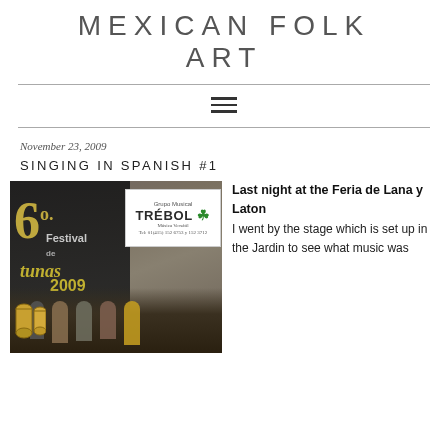MEXICAN FOLK ART
November 23, 2009
SINGING IN SPANISH #1
[Figure (photo): Photo of a music performance stage at the 6o. Festival de Lunas 2009 with a Grupo Musical TRÉBOL sign, performers on stage, and drums visible in the foreground.]
Last night at the Feria de Lana y Laton I went by the stage which is set up in the Jardin to see what music was